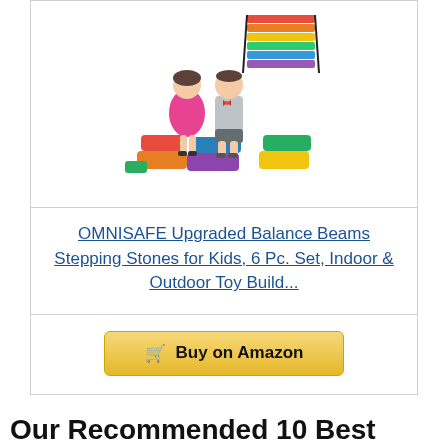[Figure (photo): Two children (a girl in a pink dress and a boy in a grey shirt) standing on colorful stepping stone balance beams. Colorful foam balance beam pieces are arranged on the floor. A stack of folded balance beams is shown in the upper right corner.]
OMNISAFE Upgraded Balance Beams Stepping Stones for Kids, 6 Pc. Set, Indoor & Outdoor Toy Build...
Buy on Amazon
Our Recommended 10 Best Kids Balance Beams Reviews 2022